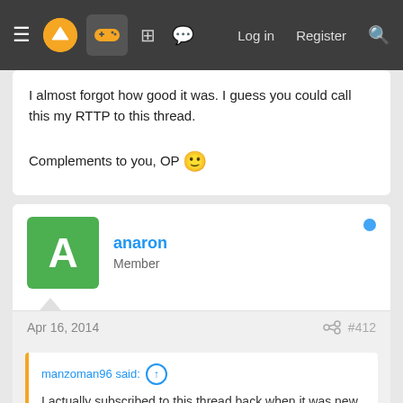Navigation bar with menu, logo, gamepad icon, grid icon, chat icon, Log in, Register, Search
I almost forgot how good it was. I guess you could call this my RTTP to this thread.

Complements to you, OP 🙂
anaron
Member
Apr 16, 2014   #412
manzoman96 said: ↑

I actually subscribed to this thread back when it was new and I almost forgot how good it was. I guess you could call this my RTTP to this thread.

Complements to you, OP 🙂